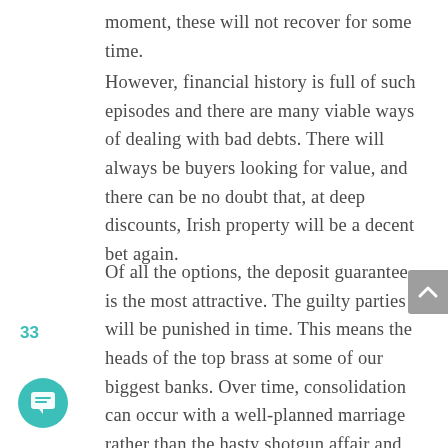moment, these will not recover for some time.
However, financial history is full of such episodes and there are many viable ways of dealing with bad debts. There will always be buyers looking for value, and there can be no doubt that, at deep discounts, Irish property will be a decent bet again.
Of all the options, the deposit guarantee is the most attractive. The guilty parties will be punished in time. This means the heads of the top brass at some of our biggest banks. Over time, consolidation can occur with a well-planned marriage rather than the hasty shotgun affair and, most importantly, the state will be
33